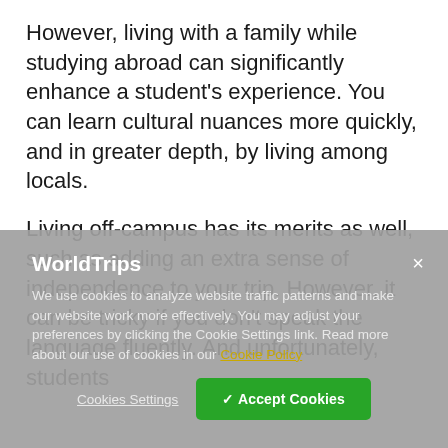However, living with a family while studying abroad can significantly enhance a student's experience. You can learn cultural nuances more quickly, and in greater depth, by living among locals.

Living off-campus has its merits as well, such as adding an extra sense of independence to your trip. However, it can be tricky if you don't speak the language fluently. And unfortunately, students
[Figure (screenshot): Cookie consent dialog from WorldTrips website overlaying the article content. Contains title 'WorldTrips', cookie policy text with link to Cookie Policy, a close button (×), and two buttons: 'Cookies Settings' and '✓ Accept Cookies'.]